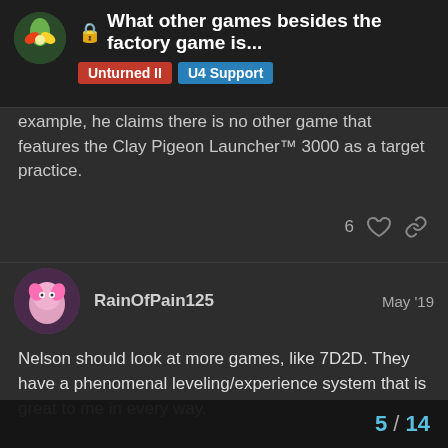What other games besides the factory game is... | Unturned II | U4 Support
example, he claims there is no other game that features the Clay Pigeon Launcher™ 3000 as a target practice.
RainOfPain125  May '19
Nelson should look at more games, like 7D2D. They have a phenomenal leveling/experience system that is great to me in every way.
stuttgart_flugart  May '19
there is no more inspirational survival gam
5 / 14